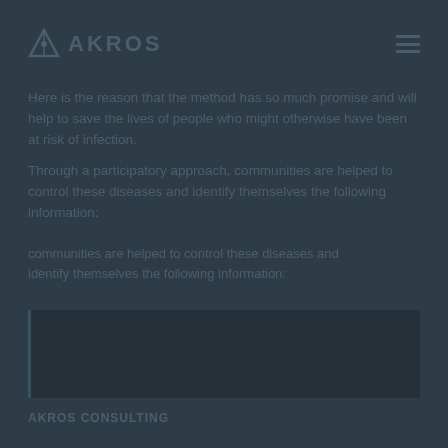AKROS
Here is the reason that the method has so much promise and will help to save the lives of people who might otherwise have been at risk of infection.

Through a participatory approach, communities are helped to control these diseases and identify themselves the following information:
communities are helped to control these diseases and identify themselves the following information:
[Figure (screenshot): A dark-themed UI box or card element with a small icon in the bottom right corner]
AKROS CONSULTING